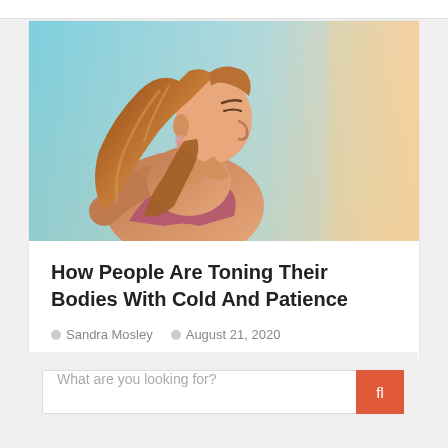[Figure (photo): A woman in athletic wear (pink sports top) with long auburn hair, photographed from the side against a bright blue sky with warm sunlight. She appears to be exercising or running.]
How People Are Toning Their Bodies With Cold And Patience
Sandra Mosley   August 21, 2020
What are you looking for?